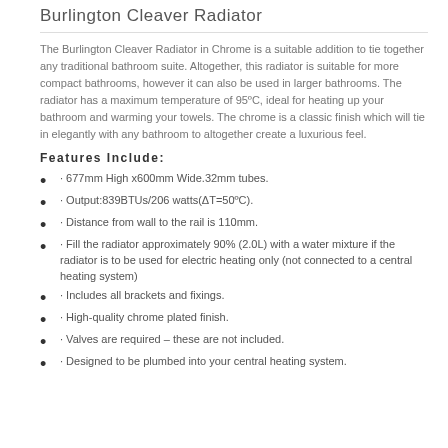Burlington Cleaver Radiator
The Burlington Cleaver Radiator in Chrome is a suitable addition to tie together any traditional bathroom suite. Altogether, this radiator is suitable for more compact bathrooms, however it can also be used in larger bathrooms. The radiator has a maximum temperature of 95ºC, ideal for heating up your bathroom and warming your towels. The chrome is a classic finish which will tie in elegantly with any bathroom to altogether create a luxurious feel.
Features Include:
· 677mm High x600mm Wide.32mm tubes.
· Output:839BTUs/206 watts(ΔT=50ºC).
· Distance from wall to the rail is 110mm.
· Fill the radiator approximately 90% (2.0L) with a water mixture if the radiator is to be used for electric heating only (not connected to a central heating system)
· Includes all brackets and fixings.
· High-quality chrome plated finish.
· Valves are required – these are not included.
· Designed to be plumbed into your central heating system.